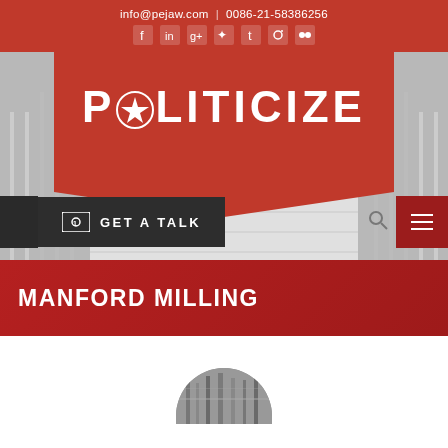info@pejaw.com  |  0086-21-58386256
[Figure (logo): Politicize website logo with star icon on red banner background]
POLITICIZE
GET A TALK
MANFORD MILLING
[Figure (photo): Circular cropped photo of industrial milling facility interior]